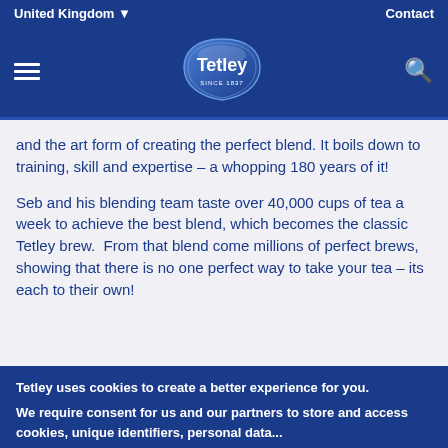United Kingdom ▾   Contact
[Figure (logo): Tetley logo — white text on blue teardrop/shield shape with 'SINCE 1837' subtitle]
and the art form of creating the perfect blend. It boils down to training, skill and expertise – a whopping 180 years of it!
Seb and his blending team taste over 40,000 cups of tea a week to achieve the best blend, which becomes the classic Tetley brew.  From that blend come millions of perfect brews, showing that there is no one perfect way to take your tea – its each to their own!
Tetley uses cookies to create a better experience for you.
We require consent for us and our partners to store and access cookies, unique identifiers, personal data...